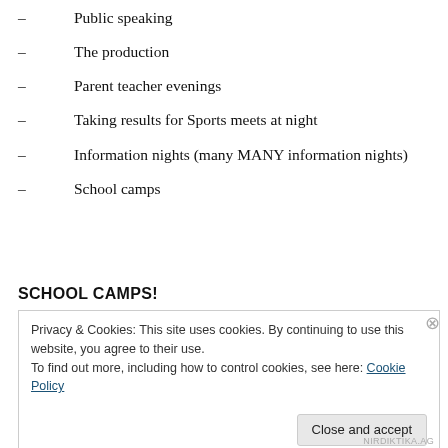Public speaking
The production
Parent teacher evenings
Taking results for Sports meets at night
Information nights (many MANY information nights)
School camps
SCHOOL CAMPS!
Privacy & Cookies: This site uses cookies. By continuing to use this website, you agree to their use.
To find out more, including how to control cookies, see here: Cookie Policy